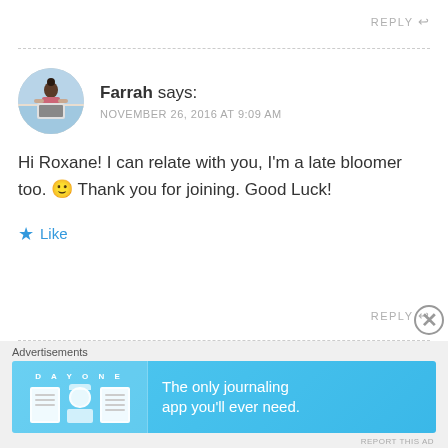REPLY ↩
[Figure (photo): Circular avatar photo of a woman sitting with a laptop]
Farrah says:
NOVEMBER 26, 2016 AT 9:09 AM
Hi Roxane! I can relate with you, I'm a late bloomer too. 🙂 Thank you for joining. Good Luck!
★ Like
REPLY ↩
Advertisements
[Figure (screenshot): Day One journaling app advertisement banner with blue background. Text reads: DAY ONE - The only journaling app you'll ever need.]